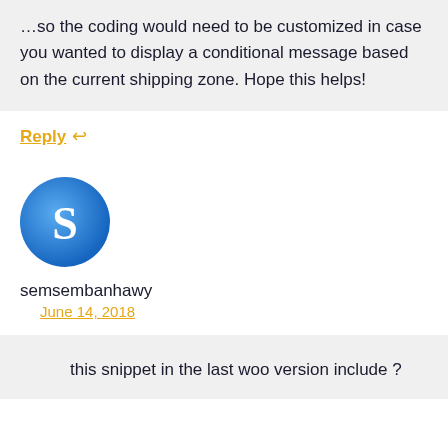…so the coding would need to be customized in case you wanted to display a conditional message based on the current shipping zone. Hope this helps!
Reply ↩
[Figure (illustration): Blue circular avatar with white letter S]
semsembanhawy
June 14, 2018
this snippet in the last woo version include ?